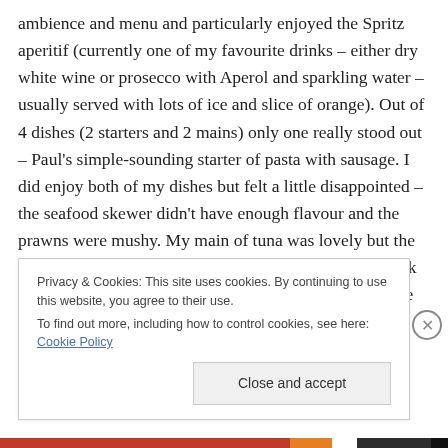ambience and menu and particularly enjoyed the Spritz aperitif (currently one of my favourite drinks – either dry white wine or prosecco with Aperol and sparkling water – usually served with lots of ice and slice of orange). Out of 4 dishes (2 starters and 2 mains) only one really stood out – Paul's simple-sounding starter of pasta with sausage. I did enjoy both of my dishes but felt a little disappointed – the seafood skewer didn't have enough flavour and the prawns were mushy. My main of tuna was lovely but the bland salad didn't offer enough contrast. I would go back again but I'd stick to their pasta and pizza rather than the
Privacy & Cookies: This site uses cookies. By continuing to use this website, you agree to their use.
To find out more, including how to control cookies, see here: Cookie Policy